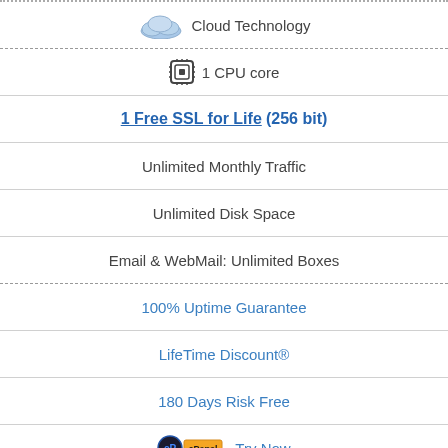Cloud Technology
1 CPU core
1 Free SSL for Life (256 bit)
Unlimited Monthly Traffic
Unlimited Disk Space
Email & WebMail: Unlimited Boxes
100% Uptime Guarantee
LifeTime Discount®
180 Days Risk Free
Try Now
GDPR compliant
SpamExperts - $2.99/mo
Automatic Backups
Premium Daily Backups - $2.95/mo
More Features
LIVE HELP